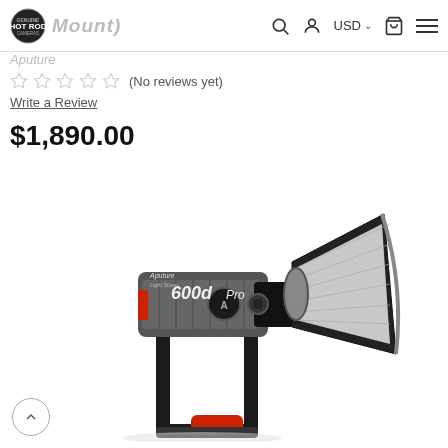Hot Rod Cameras logo, search, account, USD, cart, menu navigation
Aputure
☆☆☆☆☆ (No reviews yet)
Write a Review
$1,890.00
[Figure (photo): Aputure Light Storm 600d Pro LED monolight with reflector dish and U-shaped mounting handle with red knob, on white background]